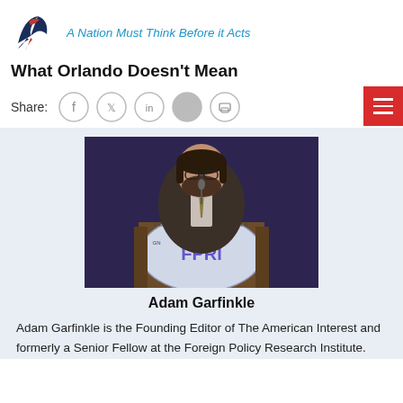A Nation Must Think Before it Acts
What Orlando Doesn't Mean
Share:
[Figure (photo): Adam Garfinkle speaking at a podium with FPRI (Foreign Policy Research Institute) logo]
Adam Garfinkle
Adam Garfinkle is the Founding Editor of The American Interest and formerly a Senior Fellow at the Foreign Policy Research Institute.